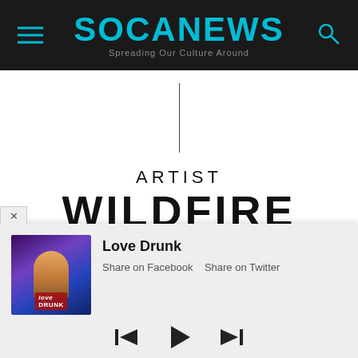SOCANEWS — Spreading Our Culture Around
ARTIST
WILDFIRE
[Figure (screenshot): Music player overlay showing album art for 'Love Drunk', track title, Share on Facebook / Share on Twitter links, playback controls (previous, play, next), and time display 00:00:00]
Love Drunk
Share on Facebook   Share on Twitter
00:00:00   00:00:00